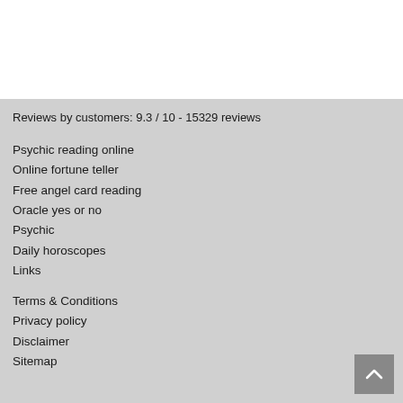Reviews by customers: 9.3 / 10 - 15329 reviews
Psychic reading online
Online fortune teller
Free angel card reading
Oracle yes or no
Psychic
Daily horoscopes
Links
Terms & Conditions
Privacy policy
Disclaimer
Sitemap